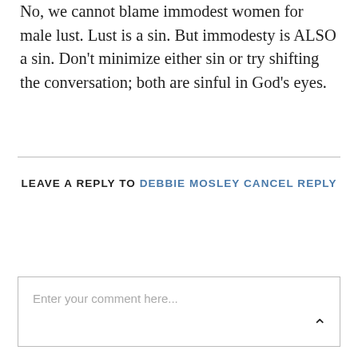No, we cannot blame immodest women for male lust. Lust is a sin. But immodesty is ALSO a sin. Don't minimize either sin or try shifting the conversation; both are sinful in God's eyes.
LEAVE A REPLY TO DEBBIE MOSLEY CANCEL REPLY
Enter your comment here...